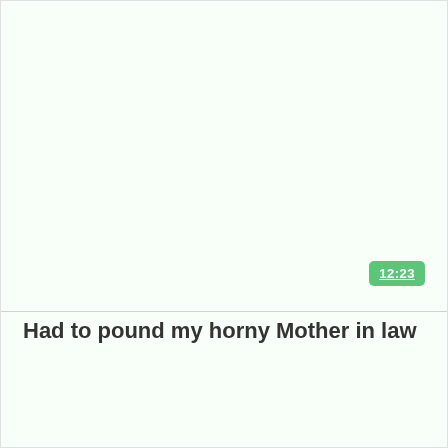12:23
Had to pound my horny Mother in law